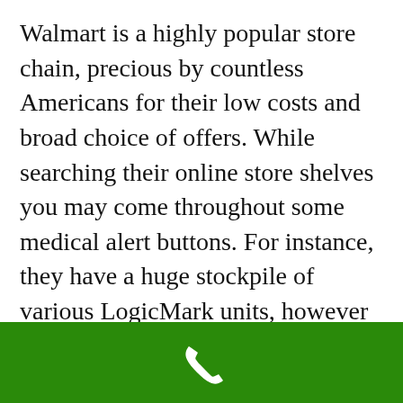Walmart is a highly popular store chain, precious by countless Americans for their low costs and broad choice of offers. While searching their online store shelves you may come throughout some medical alert buttons. For instance, they have a huge stockpile of various LogicMark units, however they likewise present GreatCall items, like their extremely popular Splash button.
Amazon
[Figure (other): Green footer bar with a white phone handset icon centered]